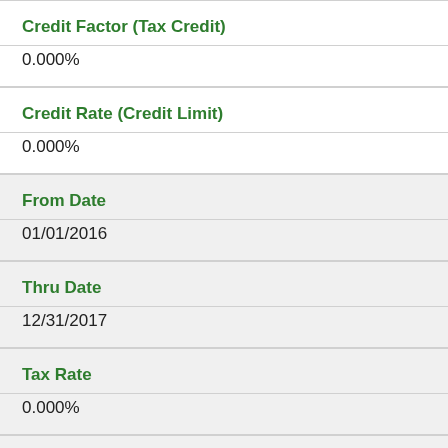Credit Factor (Tax Credit)
0.000%
Credit Rate (Credit Limit)
0.000%
From Date
01/01/2016
Thru Date
12/31/2017
Tax Rate
0.000%
Credit Factor (Tax Credit)
0.000%